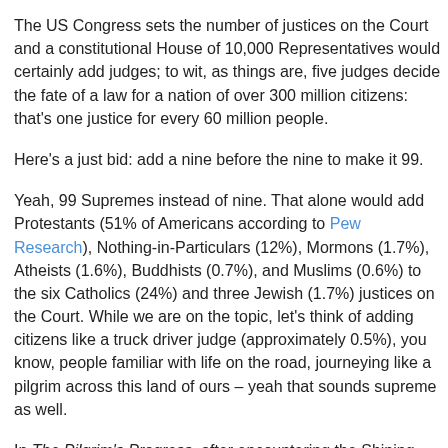The US Congress sets the number of justices on the Court and a constitutional House of 10,000 Representatives would certainly add judges; to wit, as things are, five judges decide the fate of a law for a nation of over 300 million citizens: that's one justice for every 60 million people.
Here's a just bid: add a nine before the nine to make it 99.
Yeah, 99 Supremes instead of nine. That alone would add Protestants (51% of Americans according to Pew Research), Nothing-in-Particulars (12%), Mormons (1.7%), Atheists (1.6%), Buddhists (0.7%), and Muslims (0.6%) to the six Catholics (24%) and three Jewish (1.7%) justices on the Court. While we are on the topic, let's think of adding citizens like a truck driver judge (approximately 0.5%), you know, people familiar with life on the road, journeying like a pilgrim across this land of ours – yeah that sounds supreme as well.
In The Pilgrim's Progress, after encountering the Shining Ones, Christian's dreamscape takes him to three men in iron fetters – Simple, Sloth and Presumption – reminding all of us in the 21st century (and